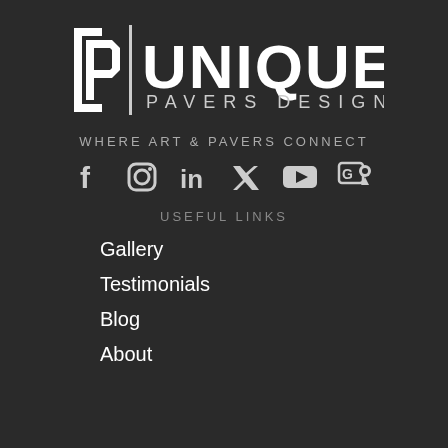[Figure (logo): Unique Pavers Design logo — geometric angular icon on the left, vertical bar separator, then UNIQUE in large bold white letters, PAVERS DESIGN below in spaced capitals]
WHERE ART & PAVERS CONNECT
[Figure (infographic): Six social media icons in a row: Facebook, Instagram, LinkedIn, Twitter/X, YouTube, Google Maps]
USEFUL LINKS
Gallery
Testimonials
Blog
About